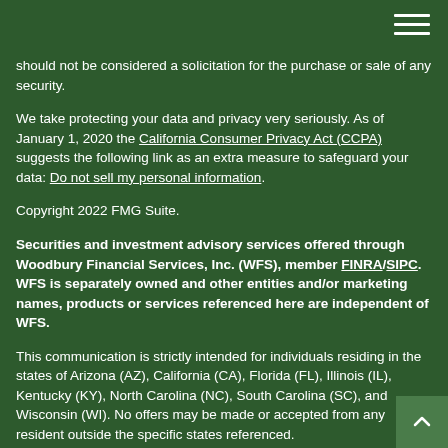should not be considered a solicitation for the purchase or sale of any security.
We take protecting your data and privacy very seriously. As of January 1, 2020 the California Consumer Privacy Act (CCPA) suggests the following link as an extra measure to safeguard your data: Do not sell my personal information.
Copyright 2022 FMG Suite.
Securities and investment advisory services offered through Woodbury Financial Services, Inc. (WFS), member FINRA/SIPC. WFS is separately owned and other entities and/or marketing names, products or services referenced here are independent of WFS.
This communication is strictly intended for individuals residing in the states of Arizona (AZ), California (CA), Florida (FL), Illinois (IL), Kentucky (KY), North Carolina (NC), South Carolina (SC), and Wisconsin (WI). No offers may be made or accepted from any resident outside the specific states referenced.
PLEASE NOTE: The link(s) provided is strictly a courtesy. When you link to any of the websites provided here, you are leaving this website and assume total responsibility and risk for your use of the website you are linking to. We make no representations as to the completeness or accuracy of any information provided at these websi